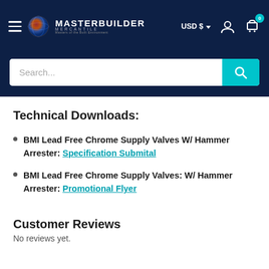Masterbuilder Mercantile — USD $ — Cart 0
Technical Downloads:
BMI Lead Free Chrome Supply Valves W/ Hammer Arrester: Specification Submital
BMI Lead Free Chrome Supply Valves: W/ Hammer Arrester: Promotional Flyer
Customer Reviews
No reviews yet.